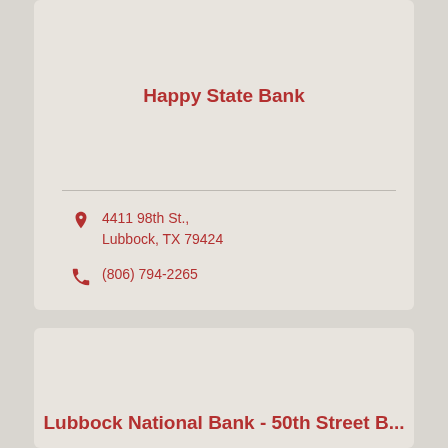Happy State Bank
4411 98th St., Lubbock, TX 79424
(806) 794-2265
Lubbock National Bank - 50th Street B...